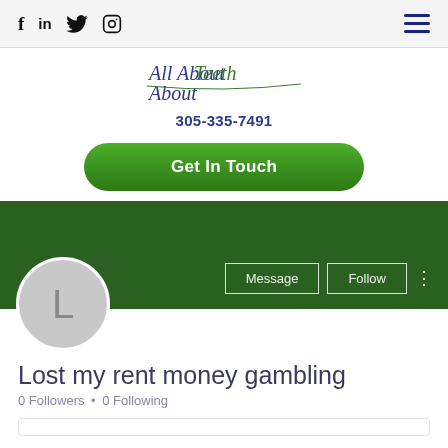Social icons: f, in, twitter, instagram | Hamburger menu
[Figure (logo): All About Teeth cursive logo in blue and green]
305-335-7491
Get In Touch
[Figure (screenshot): Social media profile card with dark green banner, avatar circle with letter L, Message and Follow buttons]
Lost my rent money gambling
0 Followers • 0 Following